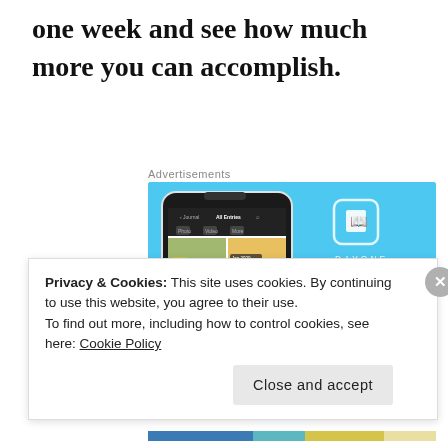one week and see how much more you can accomplish.
Advertisements
[Figure (screenshot): DayOne app advertisement showing a smartphone with journal app screenshots on a blue background, with the DayOne logo, tagline 'Your Journal for life', and a 'Get the app' button.]
Privacy & Cookies: This site uses cookies. By continuing to use this website, you agree to their use.
To find out more, including how to control cookies, see here: Cookie Policy
Close and accept